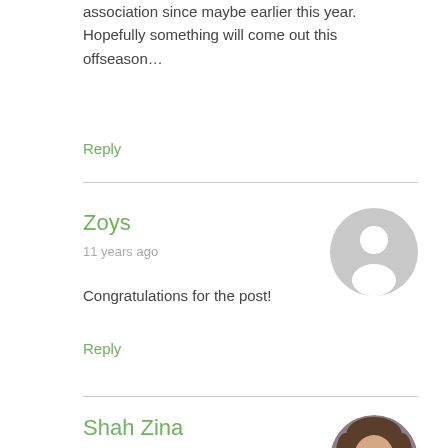association since maybe earlier this year. Hopefully something will come out this offseason…
Reply
Zoys
11 years ago
[Figure (illustration): Default user avatar: gray circle with white silhouette of a person]
Congratulations for the post!
Reply
Shah Zina
11 years ago
[Figure (photo): Profile photo of Shah Zina: child with dark hair wearing a purple top]